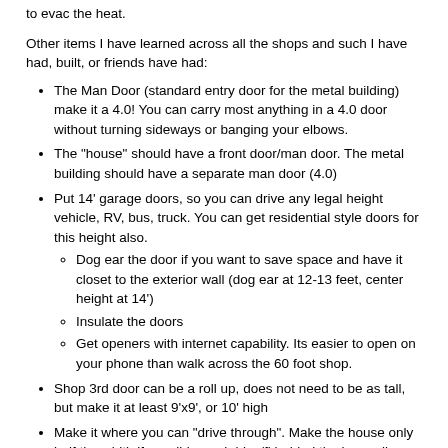to evac the heat.
Other items I have learned across all the shops and such I have had, built, or friends have had:
The Man Door (standard entry door for the metal building) make it a 4.0! You can carry most anything in a 4.0 door without turning sideways or banging your elbows.
The "house" should have a front door/man door. The metal building should have a separate man door (4.0)
Put 14' garage doors, so you can drive any legal height vehicle, RV, bus, truck. You can get residential style doors for this height also.
Dog ear the door if you want to save space and have it closet to the exterior wall (dog ear at 12-13 feet, center height at 14')
Insulate the doors
Get openers with internet capability. Its easier to open on your phone than walk across the 60 foot shop.
Shop 3rd door can be a roll up, does not need to be as tall, but make it at least 9'x9', or 10' high
Make it where you can "drive through". Make the house only half the width if possible, and drive/fl behind the house ll